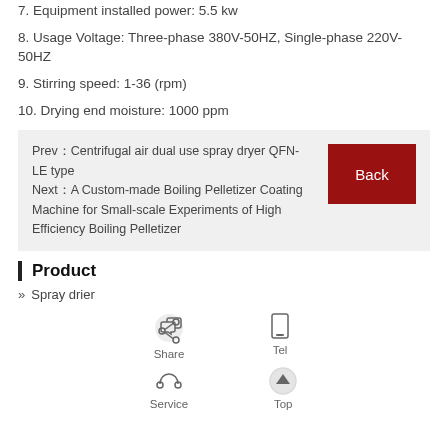7. Equipment installed power: 5.5 kw
8. Usage Voltage: Three-phase 380V-50HZ, Single-phase 220V-50HZ
9. Stirring speed: 1-36 (rpm)
10. Drying end moisture: 1000 ppm
Prev　Centrifugal air dual use spray dryer QFN- LE type
Next　A Custom-made Boiling Pelletizer Coating Machine for Small-scale Experiments of High Efficiency Boiling Pelletizer
Product
» Spray drier
[Figure (other): Share icon with label 'Share']
[Figure (other): Tel icon with label 'Tel']
[Figure (other): Service/headphones icon with label 'Service']
[Figure (other): Top/up arrow icon with label 'Top']